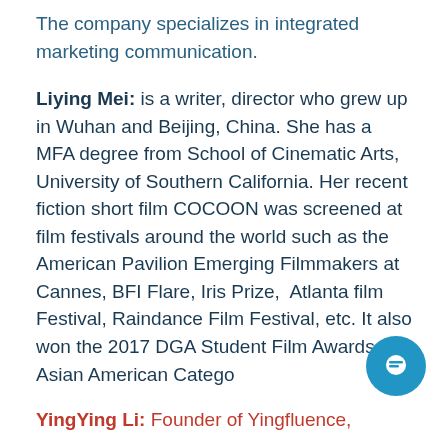The company specializes in integrated marketing communication.
Liying Mei: is a writer, director who grew up in Wuhan and Beijing, China. She has a MFA degree from School of Cinematic Arts, University of Southern California. Her recent fiction short film COCOON was screened at film festivals around the world such as the American Pavilion Emerging Filmmakers at Cannes, BFI Flare, Iris Prize, Atlanta film Festival, Raindance Film Festival, etc. It also won the 2017 DGA Student Film Awards Asian American Category
YingYing Li: Founder of Yingfluence,